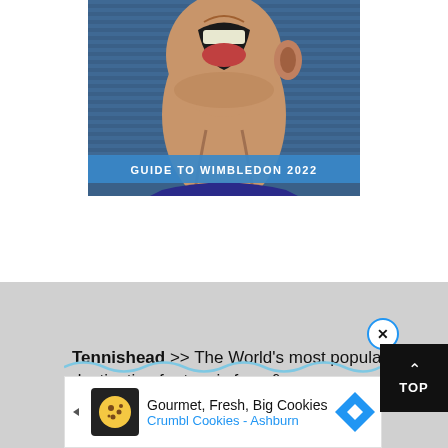[Figure (photo): Book/magazine cover titled 'GUIDE TO WIMBLEDON 2022' showing a close-up of a tennis player's face yelling with mouth wide open, against a blue striped background. The title text is in white bold letters on a blue banner across the lower portion of the cover.]
Tennishead >> The World's most popular destination for tennis fans &
[Figure (infographic): Advertisement bar: 'Gourmet, Fresh, Big Cookies - Crumbl Cookies - Ashburn' with a cookie logo and navigation arrow icon.]